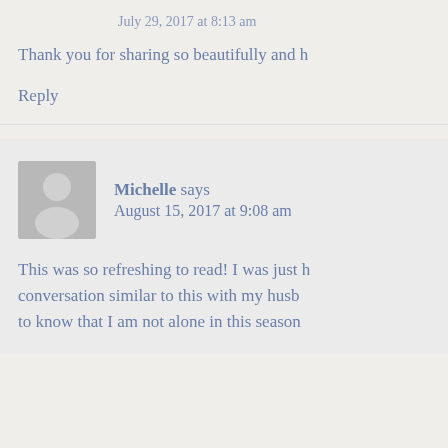July 29, 2017 at 8:13 am
Thank you for sharing so beautifully and h
Reply
Michelle says
August 15, 2017 at 9:08 am
This was so refreshing to read! I was just h conversation similar to this with my husb to know that I am not alone in this season